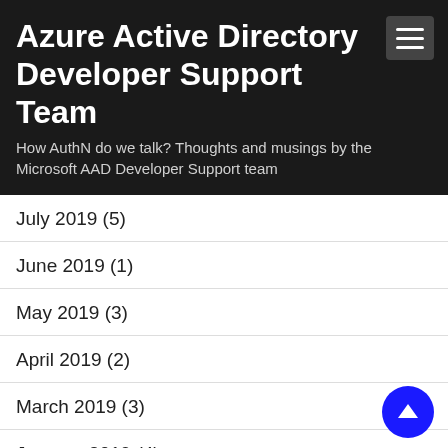Azure Active Directory Developer Support Team
How AuthN do we talk? Thoughts and musings by the Microsoft AAD Developer Support team
July 2019 (5)
June 2019 (1)
May 2019 (3)
April 2019 (2)
March 2019 (3)
January 2019 (4)
December 2018 (1)
November 2018 (4)
October 2018 (2)